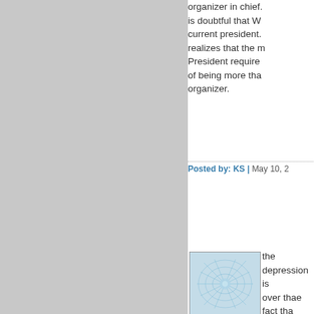organizer in chief. is doubtful that W current president. realizes that the m President require of being more tha organizer.
Posted by: KS | May 10, 2
[Figure (illustration): User avatar thumbnail: abstract blue fractal/neuron pattern on light blue background in a square bordered frame]
the depression is over thae fact tha three year contra going anywhere f time. With someo interminable tour listening to him. I nightmares where with no end in sig theres no waking a cold sweat. Duc other day calling 60 minutes "spiki RAID was absolu this as someone care for Obama w in 2012 , despite